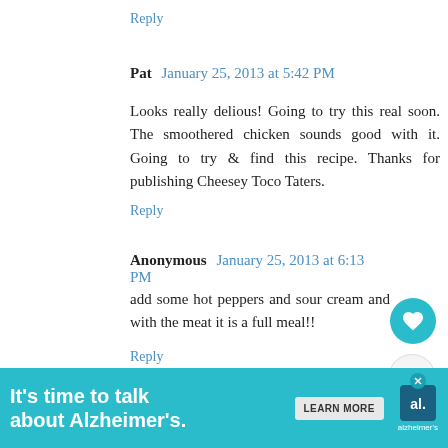Reply
Pat  January 25, 2013 at 5:42 PM
Looks really delious! Going to try this real soon. The smoothered chicken sounds good with it. Going to try & find this recipe. Thanks for publishing Cheesey Toco Taters.
Reply
Anonymous  January 25, 2013 at 6:13 PM
add some hot peppers and sour cream and with the meat it is a full meal!!
Reply
WHAT'S NEXT → Taco Stuffed Taters!
Darlene  January 26, 2013 at 1:38 PM
[Figure (infographic): Alzheimer's Association advertisement banner: 'It's time to talk about Alzheimer's.' with Learn More button and association logo]